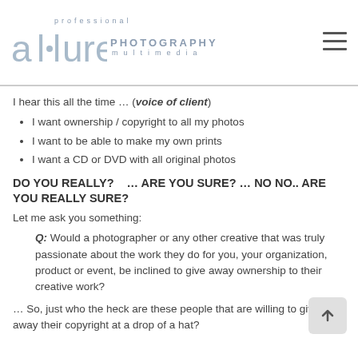[Figure (logo): Allure Professional Photography Multimedia logo — stylized lowercase 'allure' with a bullet between two l's, 'professional' text above, 'PHOTOGRAPHY' in bold caps, and 'multimedia' below]
I hear this all the time … (voice of client)
I want ownership / copyright to all my photos
I want to be able to make my own prints
I want a CD or DVD with all original photos
DO YOU REALLY?    … ARE YOU SURE? … NO NO.. ARE YOU REALLY SURE?
Let me ask you something:
Q: Would a photographer or any other creative that was truly passionate about the work they do for you, your organization, product or event, be inclined to give away ownership to their creative work?
… So, just who the heck are these people that are willing to give away their copyright at a drop of a hat?